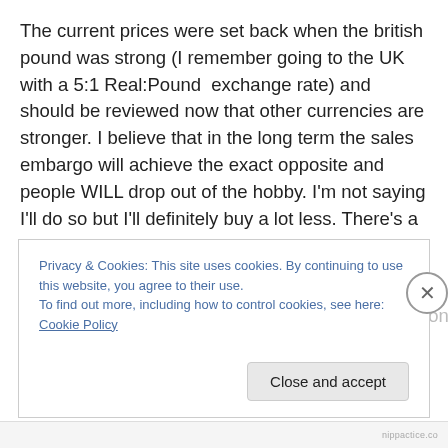The current prices were set back when the british pound was strong (I remember going to the UK with a 5:1 Real:Pound  exchange rate) and should be reviewed now that other currencies are stronger. I believe that in the long term the sales embargo will achieve the exact opposite and people WILL drop out of the hobby. I'm not saying I'll do so but I'll definitely buy a lot less. There's a veritable host of other nice games out there and it's high time Games Workshop noticed it only came to a position of prominence because of the very same consumers it's trying to alienate now with embargoes and unreasonable
Privacy & Cookies: This site uses cookies. By continuing to use this website, you agree to their use.
To find out more, including how to control cookies, see here: Cookie Policy
Close and accept
nippactice.co